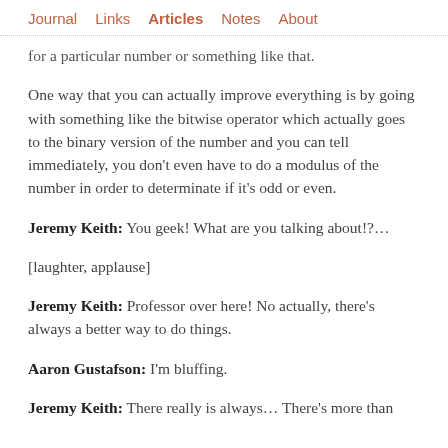Journal  Links  Articles  Notes  About
for a particular number or something like that.
One way that you can actually improve everything is by going with something like the bitwise operator which actually goes to the binary version of the number and you can tell immediately, you don't even have to do a modulus of the number in order to determinate if it's odd or even.
Jeremy Keith: You geek! What are you talking about!?...
[laughter, applause]
Jeremy Keith: Professor over here! No actually, there's always a better way to do things.
Aaron Gustafson: I'm bluffing.
Jeremy Keith: There really is always… There's more than